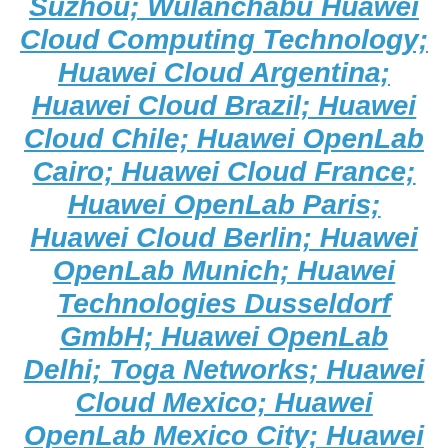Suzhou; Wulanchabu Huawei Cloud Computing Technology; Huawei Cloud Argentina; Huawei Cloud Brazil; Huawei Cloud Chile; Huawei OpenLab Cairo; Huawei Cloud France; Huawei OpenLab Paris; Huawei Cloud Berlin; Huawei OpenLab Munich; Huawei Technologies Dusseldorf GmbH; Huawei OpenLab Delhi; Toga Networks; Huawei Cloud Mexico; Huawei OpenLab Mexico City; Huawei Technologies Morocco; Huawei Cloud Netherlands; Huawei Cloud Peru; Huawei Cloud Russia; Huawei OpenLab Moscow; Huawei Cloud Singapore; Huawei OpenLab Singapore; Huawei Cloud South Africa; Huawei OpenLab Johannesburg; Huawei Cloud Switzerland; Huawei Cloud Thailand; Huawei OpenLab Bangkok; Huawei OpenLab Istanbul; Huawei OpenLab Dubai;